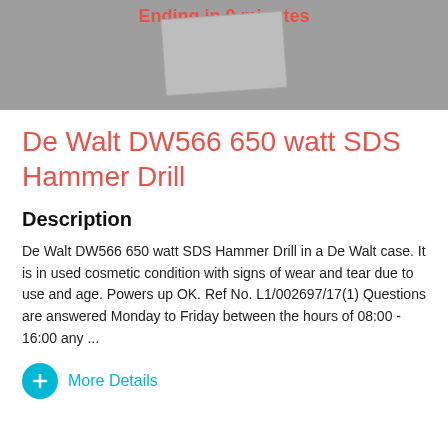[Figure (screenshot): Grey image area with red bold text 'Ending in 0 minutes' at top and a tilted grey card/envelope in center]
De Walt DW566 650 watt SDS Hammer Drill
Description
De Walt DW566 650 watt SDS Hammer Drill in a De Walt case. It is in used cosmetic condition with signs of wear and tear due to use and age. Powers up OK. Ref No. L1/002697/17(1) Questions are answered Monday to Friday between the hours of 08:00 - 16:00 any ...
More Details